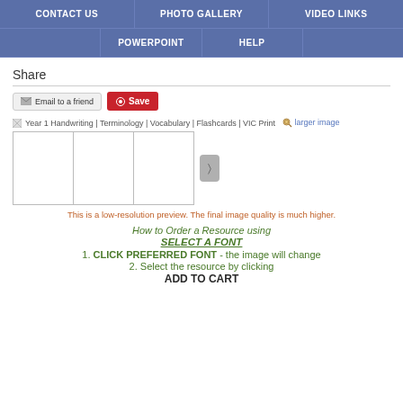CONTACT US | PHOTO GALLERY | VIDEO LINKS
POWERPOINT | HELP
Share
Email to a friend  Save
[Figure (screenshot): Broken image icon for Year 1 Handwriting | Terminology | Vocabulary | Flashcards | VIC Print with magnifying glass and 'larger image' link, and preview frames with a next arrow button]
This is a low-resolution preview. The final image quality is much higher.
How to Order a Resource using SELECT A FONT
1. CLICK PREFERRED FONT - the image will change
2. Select the resource by clicking
ADD TO CART